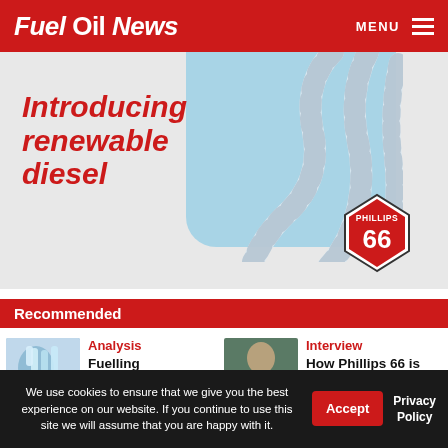Fuel Oil News — MENU
[Figure (illustration): Advertisement banner: 'Introducing renewable diesel' in bold red italic text on grey background, with blue section and flexible hose/pipe imagery on right side, Phillips 66 shield logo bottom right]
Recommended
[Figure (photo): Lab scene with blue-gloved hand holding test tubes or vials]
Analysis
Fuelling progress; future
[Figure (photo): Portrait of a woman in green jacket/top]
Interview
How Phillips 66 is driving the
We use cookies to ensure that we give you the best experience on our website. If you continue to use this site we will assume that you are happy with it.
Accept
Privacy Policy